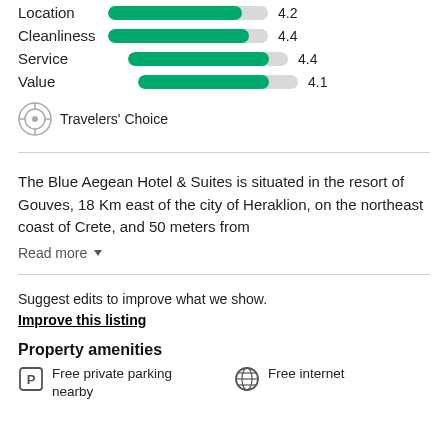[Figure (infographic): Rating bars for Location (4.2), Cleanliness (4.4), Service (4.4), Value (4.1) with green progress bars]
Travelers' Choice
The Blue Aegean Hotel & Suites is situated in the resort of Gouves, 18 Km east of the city of Heraklion, on the northeast coast of Crete, and 50 meters from
Read more
Suggest edits to improve what we show.
Improve this listing
Property amenities
Free private parking nearby
Free internet